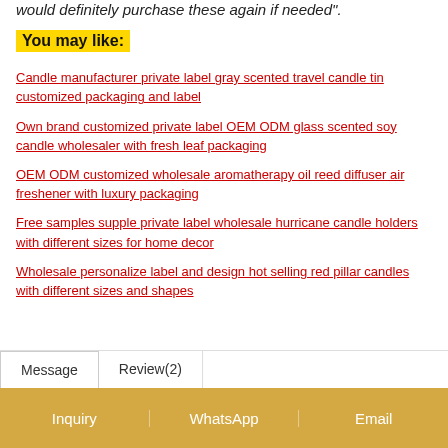would definitely purchase these again if needed".
You may like:
Candle manufacturer private label gray scented travel candle tin customized packaging and label
Own brand customized private label OEM ODM glass scented soy candle wholesaler with fresh leaf packaging
OEM ODM customized wholesale aromatherapy oil reed diffuser air freshener with luxury packaging
Free samples supple private label wholesale hurricane candle holders with different sizes for home decor
Wholesale personalize label and design hot selling red pillar candles with different sizes and shapes
Message   Review(2)
Inquiry | WhatsApp | Email